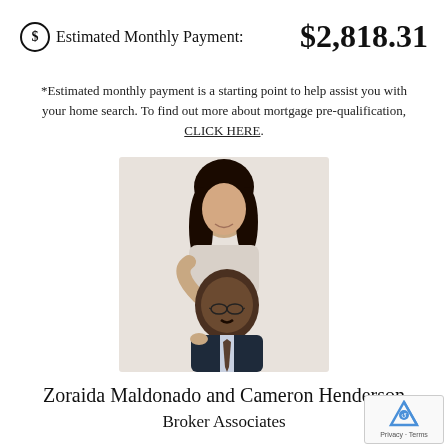Estimated Monthly Payment: $2,818.31
*Estimated monthly payment is a starting point to help assist you with your home search. To find out more about mortgage pre-qualification, CLICK HERE.
[Figure (photo): Professional photo of two real estate agents: a woman with long dark hair standing behind a man in a suit and tie wearing glasses.]
Zoraida Maldonado and Cameron Henderson
Broker Associates